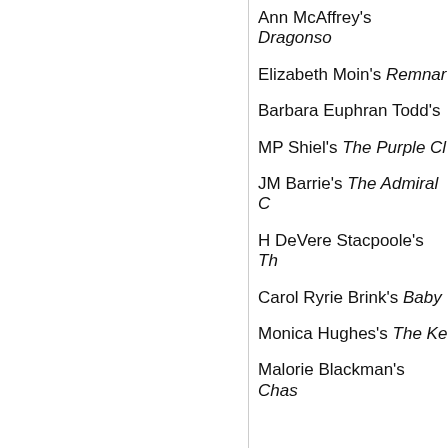Ann McAffrey's Dragonso…
Elizabeth Moin's Remnar…
Barbara Euphran Todd's …
MP Shiel's The Purple Cl…
JM Barrie's The Admiral C…
H DeVere Stacpoole's Th…
Carol Ryrie Brink's Baby …
Monica Hughes's The Ke…
Malorie Blackman's Chas…